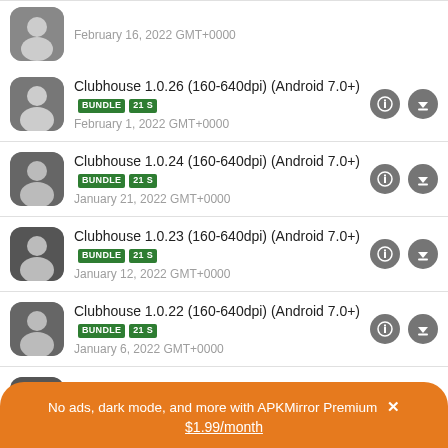Clubhouse 1.0.26 (160-640dpi) (Android 7.0+) BUNDLE 21 S — February 1, 2022 GMT+0000
Clubhouse 1.0.24 (160-640dpi) (Android 7.0+) BUNDLE 21 S — January 21, 2022 GMT+0000
Clubhouse 1.0.23 (160-640dpi) (Android 7.0+) BUNDLE 21 S — January 12, 2022 GMT+0000
Clubhouse 1.0.22 (160-640dpi) (Android 7.0+) BUNDLE 21 S — January 6, 2022 GMT+0000
Clubhouse 1.0.21 (160-640dpi) (Android 7.0+) BUNDLE 21 S
No ads, dark mode, and more with APKMirror Premium × $1.99/month